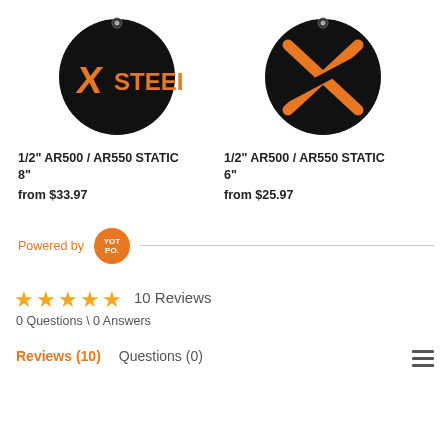[Figure (photo): XSteel round black target with orange XSTEEL logo and hanging hole at top]
1/2" AR500 / AR550 STATIC 8"
from $33.97
[Figure (photo): XSteel round black target with orange X logo and hanging hole at top]
1/2" AR500 / AR550 STATIC 6"
from $25.97
Powered by YOTPO
[Figure (infographic): 5 gold star rating with text: 10 Reviews]
0 Questions \ 0 Answers
Reviews (10)   Questions (0)